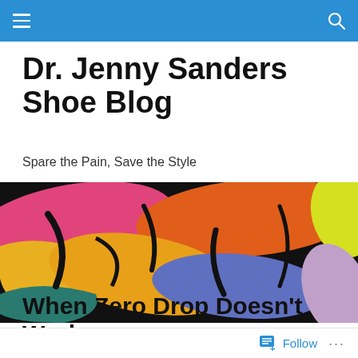Dr. Jenny Sanders Shoe Blog — navigation bar
Dr. Jenny Sanders Shoe Blog
Spare the Pain, Save the Style
[Figure (photo): Close-up of colorful shoes in pop-art style: pink, orange, yellow, teal, purple, and lavender shoes arranged on a black background]
POSTED IN SHOE FIT
When Zero Drop Doesn't Work
Follow